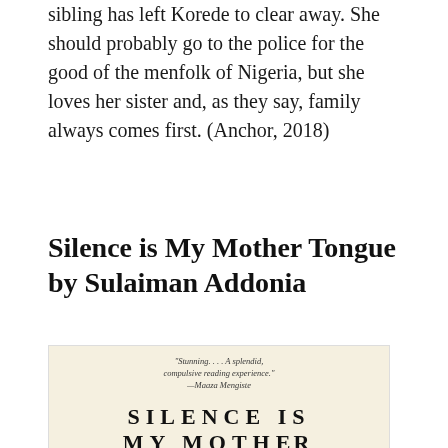sibling has left Korede to clear away. She should probably go to the police for the good of the menfolk of Nigeria, but she loves her sister and, as they say, family always comes first. (Anchor, 2018)
Silence is My Mother Tongue by Sulaiman Addonia
[Figure (illustration): Book cover for 'Silence is My Mother Tongue' with a cream/beige background, a blurb reading '"Stunning. . . . A splendid, compulsive reading experience." —Maaza Mengiste', and large spaced-lettering title text 'SILENCE IS MY MOTHER' partially visible.]